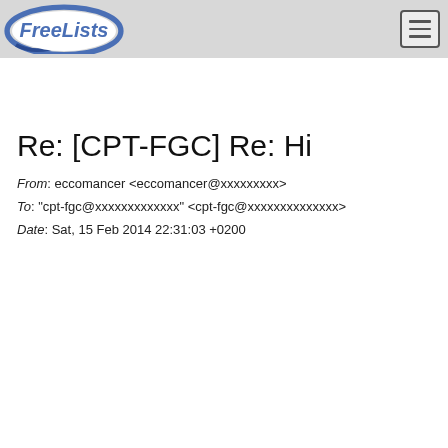FreeLists
Re: [CPT-FGC] Re: Hi
From: eccomancer <eccomancer@xxxxxxxxx>
To: "cpt-fgc@xxxxxxxxxxxxx" <cpt-fgc@xxxxxxxxxxxxxx>
Date: Sat, 15 Feb 2014 22:31:03 +0200